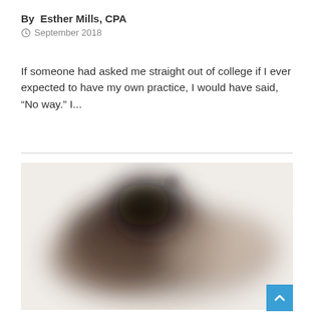By  Esther Mills, CPA
September 2018
If someone had asked me straight out of college if I ever expected to have my own practice, I would have said, “No way.” I...
[Figure (photo): A blurred photograph showing what appears to be a dark sculptural or natural object against a light background]